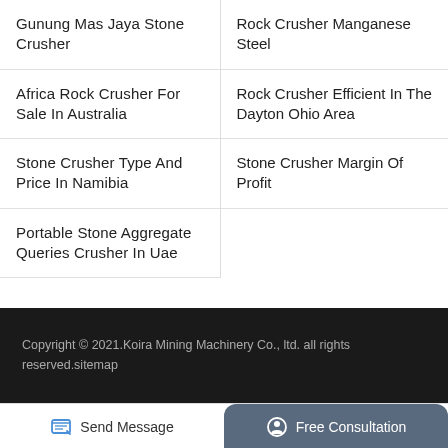Gunung Mas Jaya Stone Crusher
Rock Crusher Manganese Steel
Africa Rock Crusher For Sale In Australia
Rock Crusher Efficient In The Dayton Ohio Area
Stone Crusher Type And Price In Namibia
Stone Crusher Margin Of Profit
Portable Stone Aggregate Queries Crusher In Uae
Copyright © 2021.Koira Mining Machinery Co., ltd. all rights reserved.sitemap
Send Message
Free Consultation